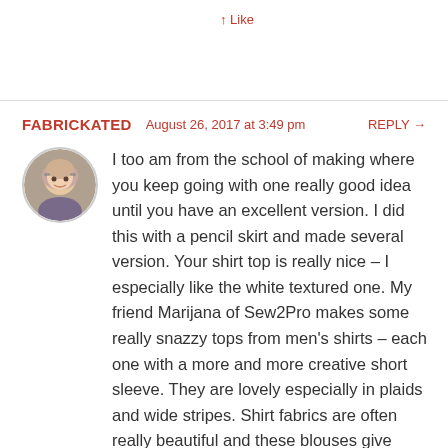↑ Like
FABRICKATED  August 26, 2017 at 3:49 pm  REPLY →
I too am from the school of making where you keep going with one really good idea until you have an excellent version. I did this with a pencil skirt and made several version. Your shirt top is really nice – I especially like the white textured one. My friend Marijana of Sew2Pro makes some really snazzy tops from men's shirts – each one with a more and more creative short sleeve. They are lovely especially in plaids and wide stripes. Shirt fabrics are often really beautiful and these blouses give them a new lease of life.
★ Liked by 1 person